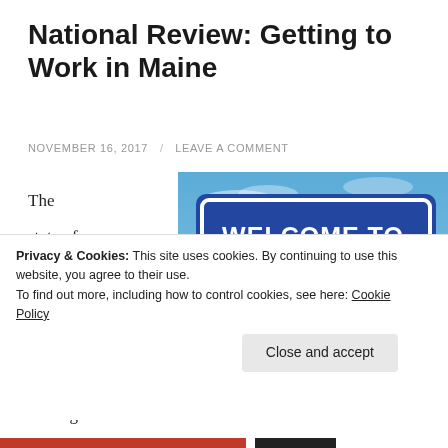National Review: Getting to Work in Maine
NOVEMBER 16, 2017 / LEAVE A COMMENT
The state of Maine has long been on the leading
[Figure (photo): A blue roadside sign reading 'WELCOME TO MAINE The Way Life Should Be' with a blue sky and bare tree branches in the background.]
Privacy & Cookies: This site uses cookies. By continuing to use this website, you agree to their use.
To find out more, including how to control cookies, see here: Cookie Policy
Close and accept